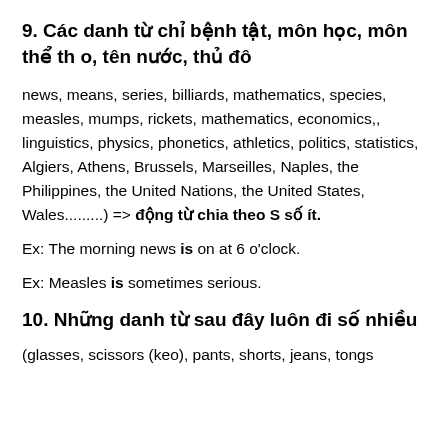9. Các danh từ chỉ bệnh tật, môn học, môn thể th o, tên nước, thủ đô
news, means, series, billiards, mathematics, species, measles, mumps, rickets, mathematics, economics,, linguistics, physics, phonetics, athletics, politics, statistics, Algiers, Athens, Brussels, Marseilles, Naples, the Philippines, the United Nations, the United States, Wales.........) => động từ chia theo S số ít.
Ex: The morning news is on at 6 o'clock.
Ex: Measles is sometimes serious.
10. Những danh từ sau đây luôn đi số nhiều
(glasses, scissors (keo), pants, shorts, jeans, tongs